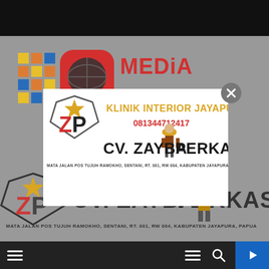[Figure (screenshot): Website screenshot showing Media Online logo in gray background with top black navigation bar, a modal popup showing CV. Zayba Perkasa / Klinik Interior Jayapura advertisement, and bottom black navigation bar with hamburger menu icons and blue play button.]
KLINIK INTERIOR JAYAPURA
081344712417
CV. ZAYBA PERKASA
MATA JALAN POS TUJUH RAMOKHO, SENTANI, RT. 001, RW 004, KABUPATEN JAYAPURA, PAPUA